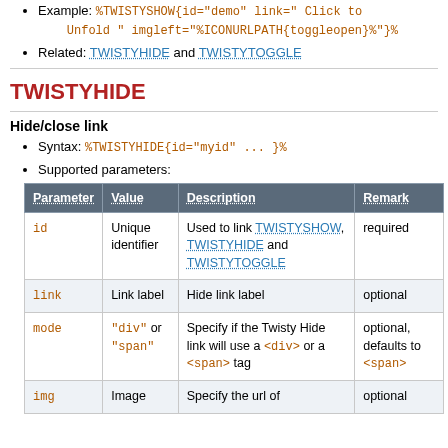Example: %TWISTYSHOW{id="demo" link=" Click to Unfold " imgleft="%ICONURLPATH{toggleopen}%"}%
Related: TWISTYHIDE and TWISTYTOGGLE
TWISTYHIDE
Hide/close link
Syntax: %TWISTYHIDE{id="myid" ... }%
Supported parameters:
| Parameter | Value | Description | Remark |
| --- | --- | --- | --- |
| id | Unique identifier | Used to link TWISTYSHOW, TWISTYHIDE and TWISTYTOGGLE | required |
| link | Link label | Hide link label | optional |
| mode | "div" or "span" | Specify if the Twisty Hide link will use a <div> or a <span> tag | optional, defaults to <span> |
| img | Image | Specify the url of | optional |